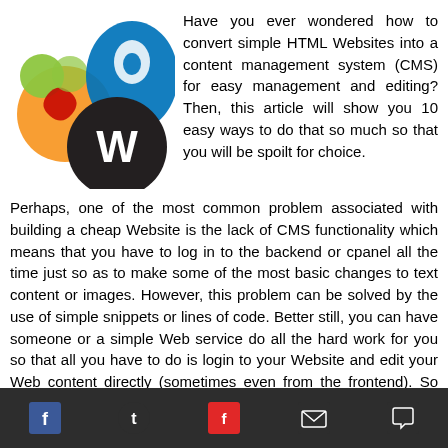[Figure (logo): CMS logos: Joomla (orange/green), Drupal (blue water drop), WordPress (black W shield)]
Have you ever wondered how to convert simple HTML Websites into a content management system (CMS) for easy management and editing? Then, this article will show you 10 easy ways to do that so much so that you will be spoilt for choice. Perhaps, one of the most common problem associated with building a cheap Website is the lack of CMS functionality which means that you have to log in to the backend or cpanel all the time just so as to make some of the most basic changes to text content or images. However, this problem can be solved by the use of simple snippets or lines of code. Better still, you can have someone or a simple Web service do all the hard work for you so that all you have to do is login to your Website and edit your Web content directly (sometimes even from the frontend). So then, the
f  t  p  mail  chat